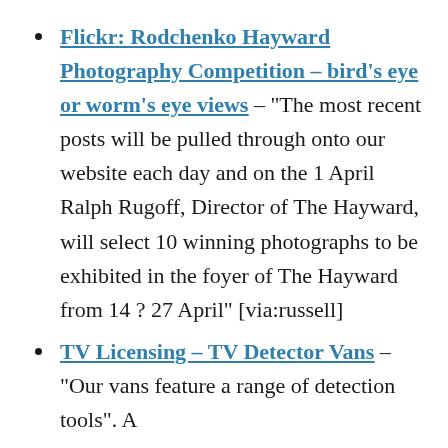Flickr: Rodchenko Hayward Photography Competition – bird's eye or worm's eye views – "The most recent posts will be pulled through onto our website each day and on the 1 April Ralph Rugoff, Director of The Hayward, will select 10 winning photographs to be exhibited in the foyer of The Hayward from 14 ? 27 April" [via:russell]
TV Licensing – TV Detector Vans – "Our vans feature a range of detection tools". A